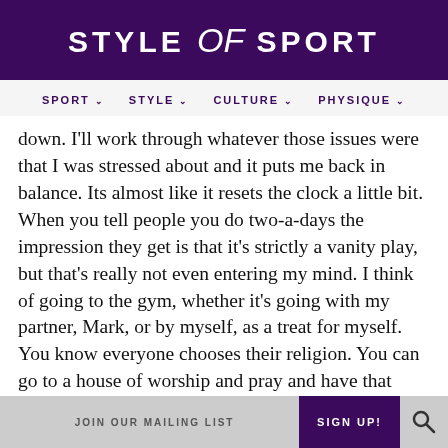STYLE of SPORT
SPORT  STYLE  CULTURE  PHYSIQUE
down. I'll work through whatever those issues were that I was stressed about and it puts me back in balance. Its almost like it resets the clock a little bit. When you tell people you do two-a-days the impression they get is that it's strictly a vanity play, but that's really not even entering my mind. I think of going to the gym, whether it's going with my partner, Mark, or by myself, as a treat for myself. You know everyone chooses their religion. You can go to a house of worship and pray and have that quiet time, but the gym is also a place for people to go and reflect on themselves. There's a peacefulness that's attached to it.
JOIN OUR MAILING LIST  SIGN UP!